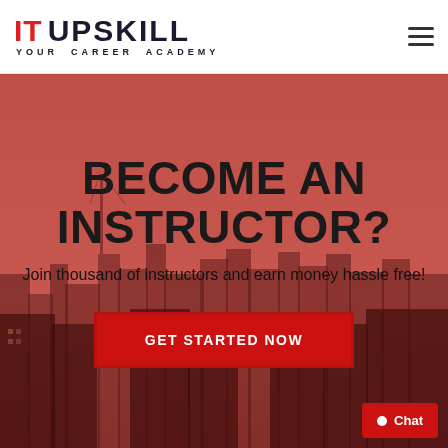[Figure (logo): IT Upskill Your Career Academy logo — IT in red, UPSKILL in dark navy, tagline YOUR CAREER ACADEMY below]
BECOME AN INSTRUCTOR?
Join thousand of instructors and earn money hassle free!
GET STARTED NOW
Chat